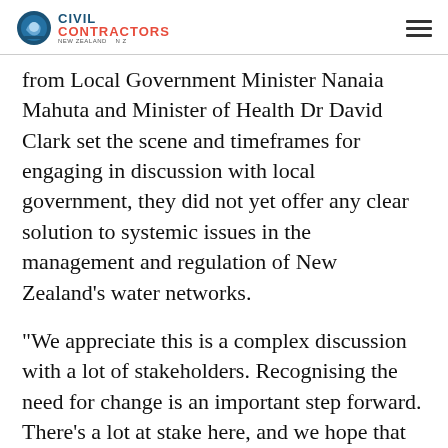Civil Contractors New Zealand
from Local Government Minister Nanaia Mahuta and Minister of Health Dr David Clark set the scene and timeframes for engaging in discussion with local government, they did not yet offer any clear solution to systemic issues in the management and regulation of New Zealand’s water networks.
“We appreciate this is a complex discussion with a lot of stakeholders. Recognising the need for change is an important step forward. There’s a lot at stake here, and we hope that come June 2019 we will see some coherent leadership from central government.”